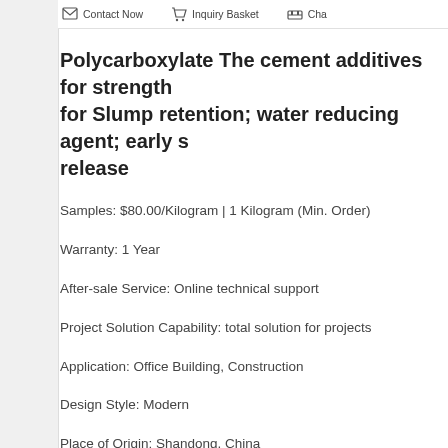Contact Now | Inquiry Basket | Cha...
Polycarboxylate The cement additives for strength for Slump retention; water reducing agent; early s release
Samples: $80.00/Kilogram | 1 Kilogram (Min. Order)
Warranty: 1 Year
After-sale Service: Online technical support
Project Solution Capability: total solution for projects
Application: Office Building, Construction
Design Style: Modern
Place of Origin: Shandong, China